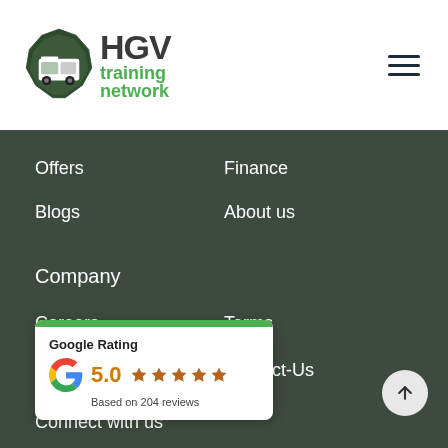[Figure (logo): HGV Training Network logo with truck icon in dark green badge and green text]
Offers
Finance
Blogs
About us
Company
Careers
Terms
[Figure (infographic): Google Rating card showing 5.0 stars based on 204 reviews with green top bar and Google G logo]
Contact-Us
Connect with us